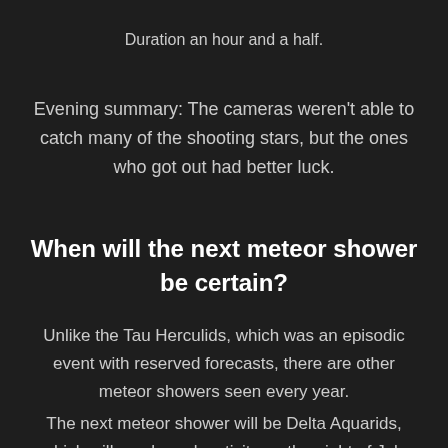Duration an hour and a half.
Evening summary: The cameras weren't able to catch many of the shooting stars, but the ones who got out had better luck.
When will the next meteor shower be certain?
Unlike the Tau Herculids, which was an episodic event with reserved forecasts, there are other meteor showers seen every year.
The next meteor shower will be Delta Aquarids, which will reach peak activity on the night of July